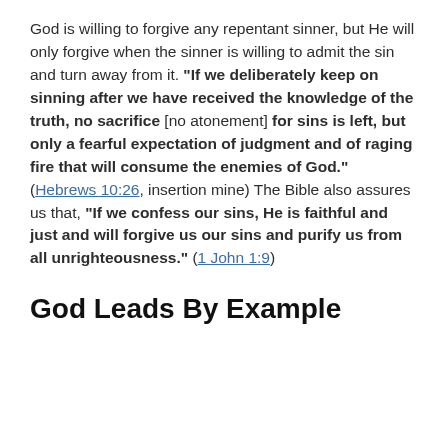God is willing to forgive any repentant sinner, but He will only forgive when the sinner is willing to admit the sin and turn away from it. "If we deliberately keep on sinning after we have received the knowledge of the truth, no sacrifice [no atonement] for sins is left, but only a fearful expectation of judgment and of raging fire that will consume the enemies of God." (Hebrews 10:26, insertion mine) The Bible also assures us that, "If we confess our sins, He is faithful and just and will forgive us our sins and purify us from all unrighteousness." (1 John 1:9)
God Leads By Example